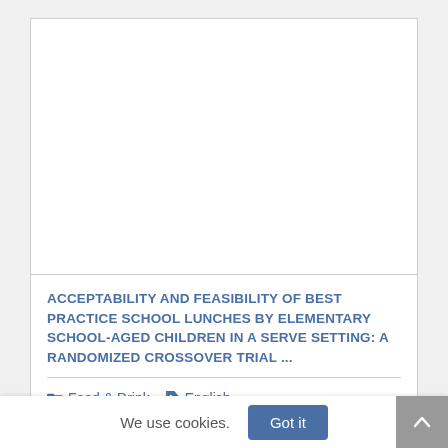[Figure (other): White image/preview area at top of card]
ACCEPTABILITY AND FEASIBILITY OF BEST PRACTICE SCHOOL LUNCHES BY ELEMENTARY SCHOOL-AGED CHILDREN IN A SERVE SETTING: A RANDOMIZED CROSSOVER TRIAL ...
Food & Drink
English
We use cookies.
Got it